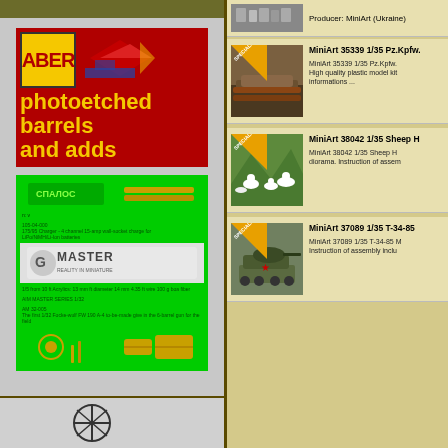[Figure (advertisement): ABER photoetched barrels and adds advertisement with red background and yellow text]
[Figure (advertisement): Master Reality in Miniature green advertisement showing brass model parts]
Producer: MiniArt (Ukraine)
MiniArt 35339 1/35 Pz.Kpfw.
MiniArt 35339 1/35 Pz.Kpfw. High quality plastic model kit informations ...
MiniArt 38042 1/35 Sheep H
MiniArt 38042 1/35 Sheep H diorama. Instruction of assem
MiniArt 37089 1/35 T-34-85
MiniArt 37089 1/35 T-34-85 M Instruction of assembly inclu